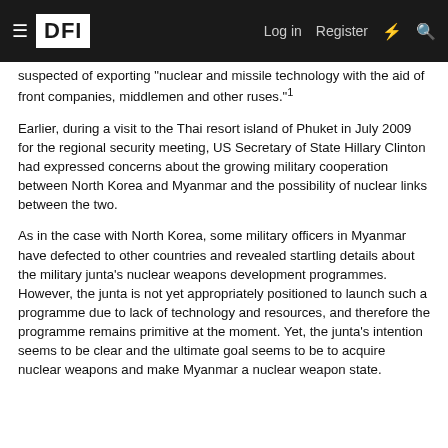DFI  Log in  Register
suspected of exporting "nuclear and missile technology with the aid of front companies, middlemen and other ruses."¹
Earlier, during a visit to the Thai resort island of Phuket in July 2009 for the regional security meeting, US Secretary of State Hillary Clinton had expressed concerns about the growing military cooperation between North Korea and Myanmar and the possibility of nuclear links between the two.
As in the case with North Korea, some military officers in Myanmar have defected to other countries and revealed startling details about the military junta's nuclear weapons development programmes. However, the junta is not yet appropriately positioned to launch such a programme due to lack of technology and resources, and therefore the programme remains primitive at the moment. Yet, the junta's intention seems to be clear and the ultimate goal seems to be to acquire nuclear weapons and make Myanmar a nuclear weapon state.